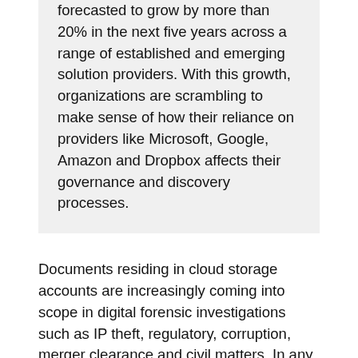forecasted to grow by more than 20% in the next five years across a range of established and emerging solution providers. With this growth, organizations are scrambling to make sense of how their reliance on providers like Microsoft, Google, Amazon and Dropbox affects their governance and discovery processes.
Documents residing in cloud storage accounts are increasingly coming into scope in digital forensic investigations such as IP theft, regulatory, corruption, merger clearance and civil matters. In any number of legal scenarios, organizations may be obligated to place preservation holds on data residing in cloud storage, collect documents from cloud accounts and produce this data to regulators or courts.
Accessing this type of data for an investigation can be a